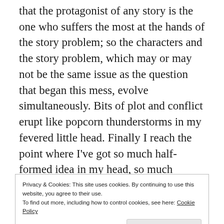that the protagonist of any story is the one who suffers the most at the hands of the story problem; so the characters and the story problem, which may or may not be the same issue as the question that began this mess, evolve simultaneously. Bits of plot and conflict erupt like popcorn thunderstorms in my fevered little head. Finally I reach the point where I've got so much half-formed idea in my head, so much sketched-in plot, that I conclude I know what the story is about and where it's going to end up, and I start thinking about the place to begin. Once I've got that, I jump in and start writing.
Privacy & Cookies: This site uses cookies. By continuing to use this website, you agree to their use.
To find out more, including how to control cookies, see here: Cookie Policy
I generally write approximately two drafts. I say